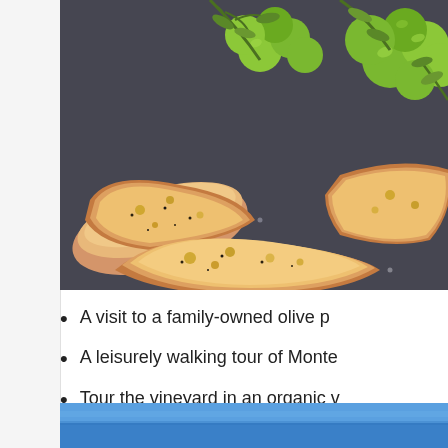[Figure (photo): Close-up photo of bruschetta bread slices drizzled with olive oil, surrounded by green olives and olive branches on a dark slate background.]
A visit to a family-owned olive p…
A leisurely walking tour of Monte…
Tour the vineyard in an organic v…
[Figure (photo): Partial view of a blue sky or water scene, cropped at the bottom of the page.]